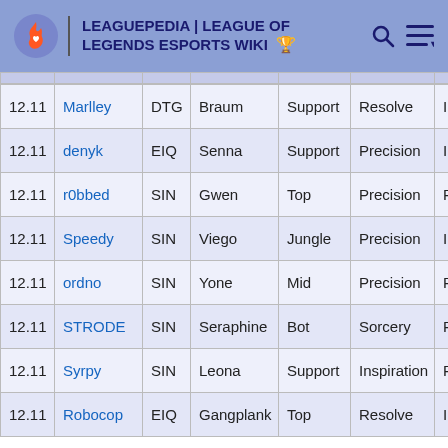LEAGUEPEDIA | LEAGUE OF LEGENDS ESPORTS WIKI
|  | Player | Team | Champion | Role | Keystone |  |
| --- | --- | --- | --- | --- | --- | --- |
| 12.11 | Marlley | DTG | Braum | Support | Resolve | Insp |
| 12.11 | denyk | EIQ | Senna | Support | Precision | Insp |
| 12.11 | r0bbed | SIN | Gwen | Top | Precision | Res |
| 12.11 | Speedy | SIN | Viego | Jungle | Precision | Insp |
| 12.11 | ordno | SIN | Yone | Mid | Precision | Res |
| 12.11 | STRODE | SIN | Seraphine | Bot | Sorcery | Res |
| 12.11 | Syrpy | SIN | Leona | Support | Inspiration | Res |
| 12.11 | Robocop | EIQ | Gangplank | Top | Resolve | Insp |